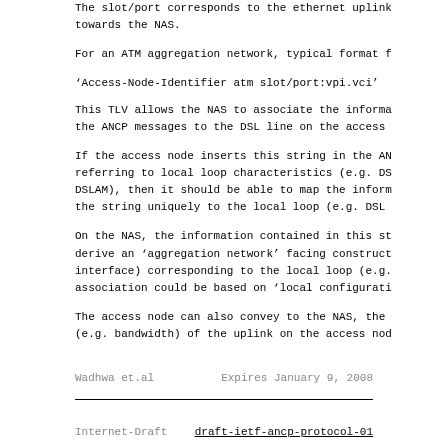The slot/port corresponds to the ethernet uplink towards the NAS.
For an ATM aggregation network, typical format f
‘Access-Node-Identifier atm slot/port:vpi.vci’
This TLV allows the NAS to associate the informa the ANCP messages to the DSL line on the access
If the access node inserts this string in the AN referring to local loop characteristics (e.g. DS DSLAM), then it should be able to map the inform the string uniquely to the local loop (e.g. DSL
On the NAS, the information contained in this st derive an ‘aggregation network’ facing construct interface) corresponding to the local loop (e.g. association could be based on ‘local configurati
The access node can also convey to the NAS, the (e.g. bandwidth) of the uplink on the access nod
Wadhwa et.al                Expires January 9, 2008
Internet-Draft              draft-ietf-ancp-protocol-01